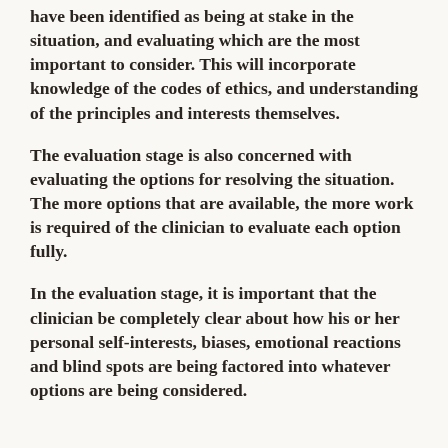have been identified as being at stake in the situation, and evaluating which are the most important to consider. This will incorporate knowledge of the codes of ethics, and understanding of the principles and interests themselves.
The evaluation stage is also concerned with evaluating the options for resolving the situation. The more options that are available, the more work is required of the clinician to evaluate each option fully.
In the evaluation stage, it is important that the clinician be completely clear about how his or her personal self-interests, biases, emotional reactions and blind spots are being factored into whatever options are being considered.